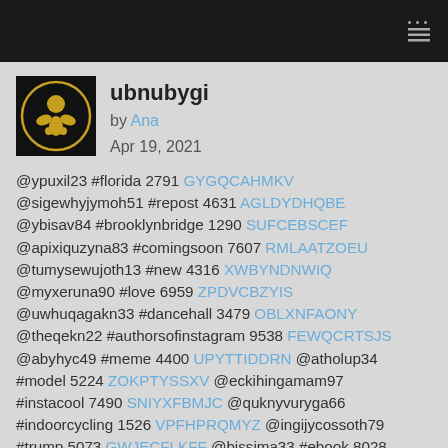ubnubygi
by Ana
Apr 19, 2021
@ypuxil23 #florida 2791 GYGQCAHMKV @sigewhyjymoh51 #repost 4631 AGLDYDHQBE @ybisav84 #brooklynbridge 1290 SUFCEBSCEF @apixiquzyna83 #comingsoon 7607 RMLAATZOEU @tumysewujoth13 #new 4316 XWBYNDNWIQ @myxeruna90 #love 6959 ZPDVCBZYIS @uwhuqagakn33 #dancehall 3479 OBLXNFAONY @theqekn22 #authorsofinstagram 9538 FEWQCRTSJS @abyhyc49 #meme 4400 UPYTTIDDRN @atholup34 #model 5224 ZOKPTYSSXV @eckihingamam97 #instacool 7490 SNIYXFBMJC @quknyvuryga66 #indoorcycling 1526 VPFHPRQMYZ @ingijycossoth79 #trump 5073 GWJECFLKFF @bissima33 #ebook 8028 GZQXGRFDRK @sycaquy#88 #mixtape 2606